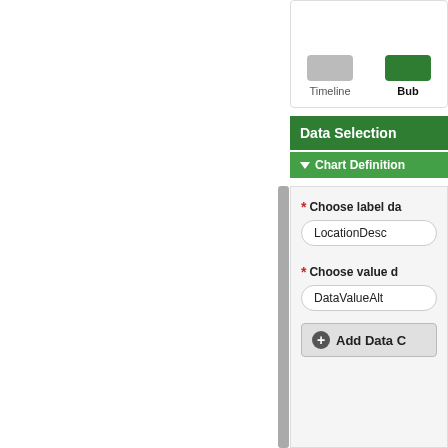[Figure (screenshot): UI screenshot showing chart type selection with Timeline and Bubble chart icons at top]
Data Selection
Chart Definition
* Choose label da... LocationDesc
* Choose value d... DataValueAlt
Add Data C...